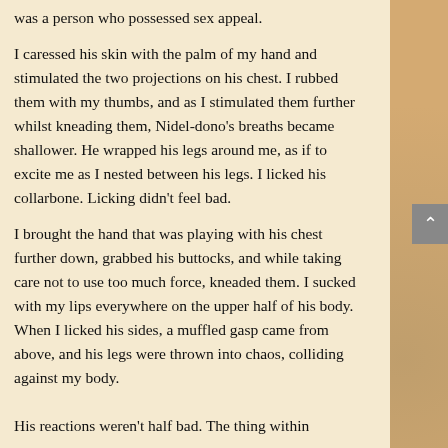was a person who possessed sex appeal.

I caressed his skin with the palm of my hand and stimulated the two projections on his chest. I rubbed them with my thumbs, and as I stimulated them further whilst kneading them, Nidel-dono's breaths became shallower. He wrapped his legs around me, as if to excite me as I nested between his legs. I licked his collarbone. Licking didn't feel bad.
I brought the hand that was playing with his chest further down, grabbed his buttocks, and while taking care not to use too much force, kneaded them. I sucked with my lips everywhere on the upper half of his body. When I licked his sides, a muffled gasp came from above, and his legs were thrown into chaos, colliding against my body.
His reactions weren't half bad. The thing within